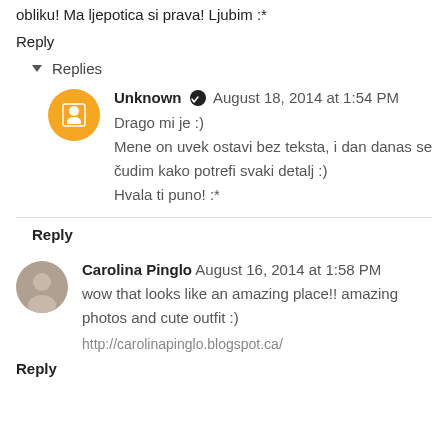obliku! Ma ljepotica si prava! Ljubim :*
Reply
Replies
Unknown  August 18, 2014 at 1:54 PM
Drago mi je :)
Mene on uvek ostavi bez teksta, i dan danas se čudim kako potrefi svaki detalj :)
Hvala ti puno! :*
Reply
Carolina Pinglo  August 16, 2014 at 1:58 PM
wow that looks like an amazing place!! amazing photos and cute outfit :)

http://carolinapinglo.blogspot.ca/
Reply